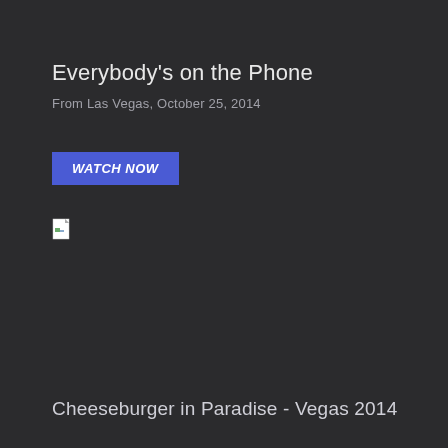Everybody's on the Phone
From Las Vegas, October 25, 2014
WATCH NOW
[Figure (other): Broken image placeholder icon (small white page with folded corner)]
Cheeseburger in Paradise - Vegas 2014